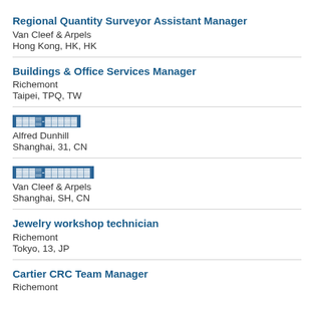Regional Quantity Surveyor Assistant Manager
Van Cleef & Arpels
Hong Kong, HK, HK
Buildings & Office Services Manager
Richemont
Taipei, TPQ, TW
[scrambled title]
Alfred Dunhill
Shanghai, 31, CN
[scrambled title]
Van Cleef & Arpels
Shanghai, SH, CN
Jewelry workshop technician
Richemont
Tokyo, 13, JP
Cartier CRC Team Manager
Richemont